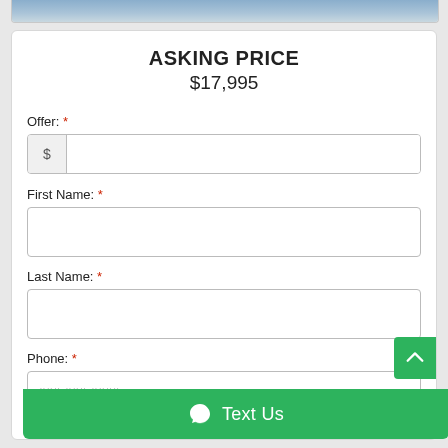ASKING PRICE
$17,995
Offer: *
First Name: *
Last Name: *
Phone: *
###-###-####
Text Us